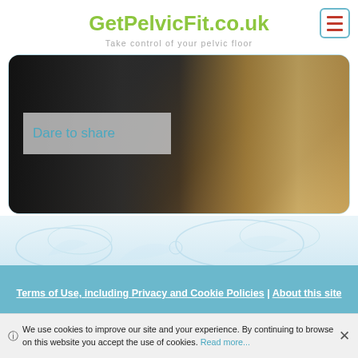GetPelvicFit.co.uk — Take control of your pelvic floor
[Figure (photo): Partial view of a person wearing a sequined/glittery beige top against a dark curtain background, with a semi-transparent overlay box containing the text 'Dare to share']
Dare to share
Terms of Use, including Privacy and Cookie Policies | About this site
©2022 PT Direct
We use cookies to improve our site and your experience. By continuing to browse on this website you accept the use of cookies. Read more...